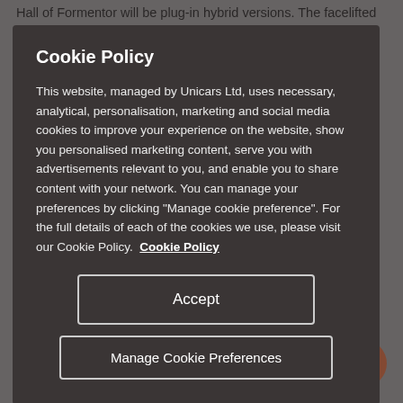Hall of Formentor will be plug-in hybrid versions. The facelifted SEAT Ibiza and Arona will arrive also to the market this year. Two
Cookie Policy
This website, managed by Unicars Ltd, uses necessary, analytical, personalisation, marketing and social media cookies to improve your experience on the website, show you personalised marketing content, serve you with advertisements relevant to you, and enable you to share content with your network. You can manage your preferences by clicking "Manage cookie preference". For the full details of each of the cookies we use, please visit our Cookie Policy. Cookie Policy
Accept
Manage Cookie Preferences
Highlights 2020.